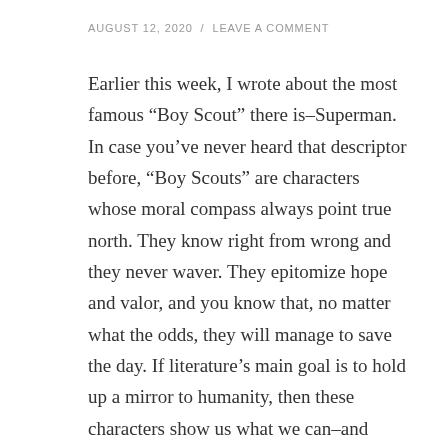AUGUST 12, 2020  /  LEAVE A COMMENT
Earlier this week, I wrote about the most famous “Boy Scout” there is–Superman. In case you’ve never heard that descriptor before, “Boy Scouts” are characters whose moral compass always point true north. They know right from wrong and they never waver. They epitomize hope and valor, and you know that, no matter what the odds, they will manage to save the day. If literature’s main goal is to hold up a mirror to humanity, then these characters show us what we can–and should–be.
Obviously, I’m a fan of Superman and characters like him. But there’s another type of character that, while on the complete other side of the spectrum, is just as important when holding up a mirror to humanity.